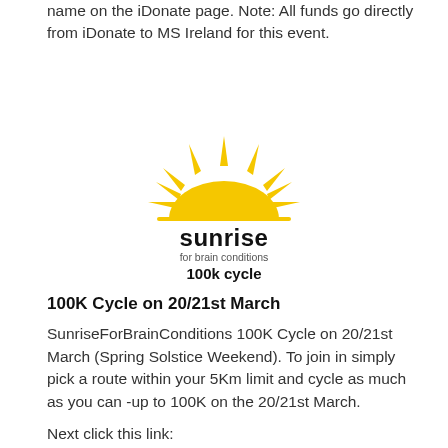name on the iDonate page. Note: All funds go directly from iDonate to MS Ireland for this event.
[Figure (logo): Sunrise for Brain Conditions 100k cycle logo — yellow sun rising above horizon with rays, black text 'sunrise for brain conditions 100k cycle']
100K Cycle on 20/21st March
SunriseForBrainConditions 100K Cycle on 20/21st March (Spring Solstice Weekend). To join in simply pick a route within your 5Km limit and cycle as much as you can -up to 100K on the 20/21st March.
Next click this link: